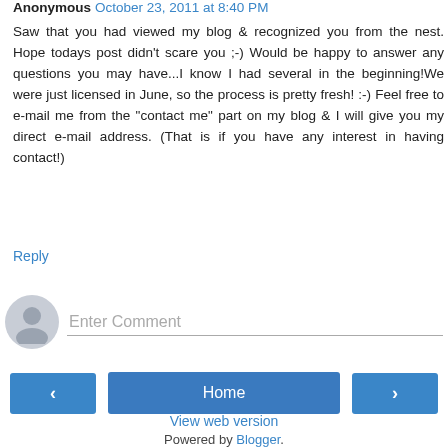Anonymous October 23, 2011 at 8:40 PM
Saw that you had viewed my blog & recognized you from the nest. Hope todays post didn't scare you ;-) Would be happy to answer any questions you may have...I know I had several in the beginning!We were just licensed in June, so the process is pretty fresh! :-) Feel free to e-mail me from the "contact me" part on my blog & I will give you my direct e-mail address. (That is if you have any interest in having contact!)
Reply
Enter Comment
Home
View web version
Powered by Blogger.